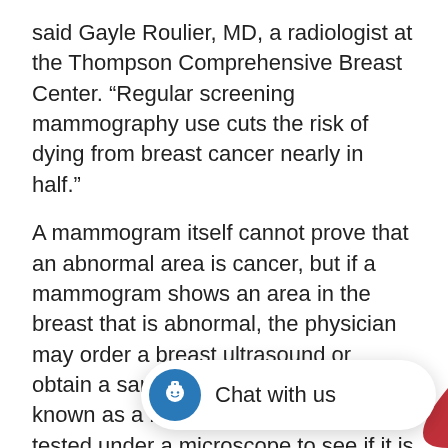said Gayle Roulier, MD, a radiologist at the Thompson Comprehensive Breast Center. “Regular screening mammography use cuts the risk of dying from breast cancer nearly in half.”
A mammogram itself cannot prove that an abnormal area is cancer, but if a mammogram shows an area in the breast that is abnormal, the physician may order a breast ultrasound or obtain a sample of breast tissue, also known as a biopsy. The tissue is then tested under a microscope to see if it is cancerous.
If you’re new to the mammogram experience, here’s what to expect:
Don’t use deodorant, p day of your mammogra.
Wear two-piece clothing.